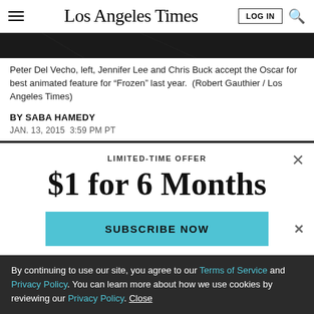Los Angeles Times
[Figure (photo): Dark photo strip showing Oscar acceptance scene, partially visible]
Peter Del Vecho, left, Jennifer Lee and Chris Buck accept the Oscar for best animated feature for “Frozen” last year.  (Robert Gauthier / Los Angeles Times)
BY SABA HAMEDY
JAN. 13, 2015  3:59 PM PT
LIMITED-TIME OFFER
$1 for 6 Months
SUBSCRIBE NOW
By continuing to use our site, you agree to our Terms of Service and Privacy Policy. You can learn more about how we use cookies by reviewing our Privacy Policy. Close